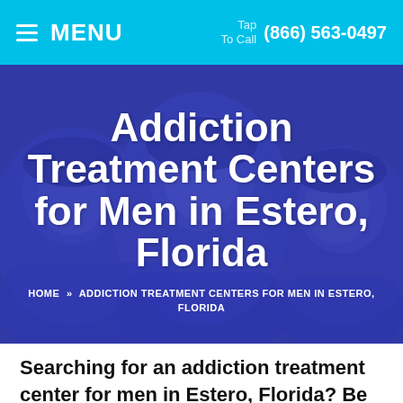MENU  Tap To Call  (866) 563-0497
[Figure (photo): Blue-tinted photo of three people (faces looking upward) used as a hero banner background for an addiction treatment center website]
Addiction Treatment Centers for Men in Estero, Florida
HOME » ADDICTION TREATMENT CENTERS FOR MEN IN ESTERO, FLORIDA
Searching for an addiction treatment center for men in Estero, Florida? Be sure to check out the most effective addiction